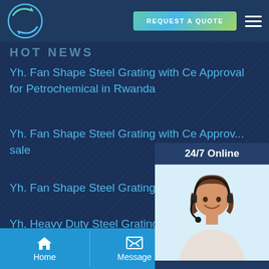[Figure (logo): Circular logo with arrows, green and blue colors]
[Figure (other): REQUEST A QUOTE button with gradient background]
[Figure (other): Hamburger menu icon (three horizontal lines)]
HOT NEWS
Yh. Fan Shape Steel Grating with Ce Approval for Petrochemical in Rwanda
Yh. Fan Shape Steel Grating with Ce Approv... sale
Yh. Fan Shape Steel Grating with Ce Approv...
Yh. Heavy Duty Steel Grating with Ce Appro... Ecuador Life
[Figure (photo): 24/7 Online panel with photo of woman with headset smiling, Have any requests click here text, and Quotation button]